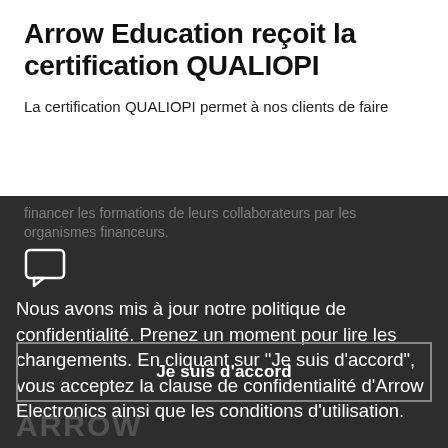Arrow Education reçoit la certification QUALIOPI
La certification QUALIOPI permet à nos clients de faire financer les formations de leurs collaborateurs par les organismes financeurs.
[Figure (illustration): Chat/speech bubble icon in white outline on dark background]
Nous avons mis à jour notre politique de confidentialité. Prenez un moment pour lire les changements. En cliquant sur "Je suis d'accord", vous acceptez la clause de confidentialité d'Arrow Electronics ainsi que les conditions d'utilisation.
Je suis d'accord
ARROW